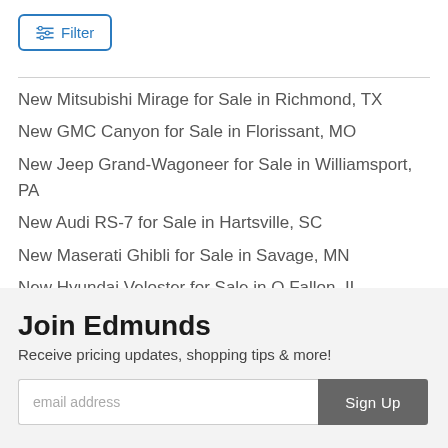[Figure (other): Filter button with sliders icon and blue border]
New Mitsubishi Mirage for Sale in Richmond, TX
New GMC Canyon for Sale in Florissant, MO
New Jeep Grand-Wagoneer for Sale in Williamsport, PA
New Audi RS-7 for Sale in Hartsville, SC
New Maserati Ghibli for Sale in Savage, MN
New Hyundai Veloster for Sale in O Fallon, IL
Join Edmunds
Receive pricing updates, shopping tips & more!